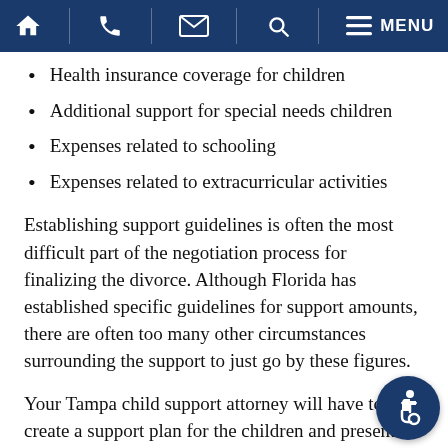Navigation bar with home, phone, email, search, and menu icons
Health insurance coverage for children
Additional support for special needs children
Expenses related to schooling
Expenses related to extracurricular activities
Establishing support guidelines is often the most difficult part of the negotiation process for finalizing the divorce. Although Florida has established specific guidelines for support amounts, there are often too many other circumstances surrounding the support to just go by these figures.
Your Tampa child support attorney will have to create a support plan for the children and present it to the opposing attorney for their approval. Once negotiations are completed, the final figures must be presented to court for approval.